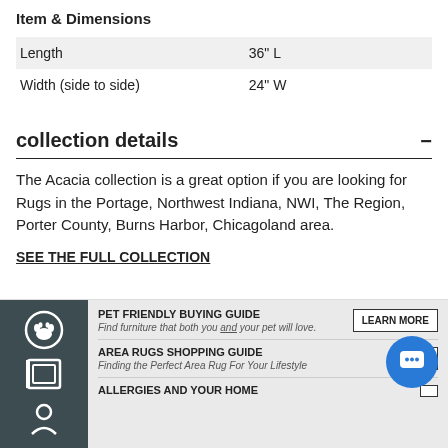Item & Dimensions
| Length | 36" L |
| Width (side to side) | 24" W |
collection details
The Acacia collection is a great option if you are looking for Rugs in the Portage, Northwest Indiana, NWI, The Region, Porter County, Burns Harbor, Chicagoland area.
SEE THE FULL COLLECTION
[Figure (infographic): Pet Friendly Buying Guide, Area Rugs Shopping Guide, and Allergies and Your Home banner with icons and Learn More buttons]
[Figure (illustration): Blue circular chat/message button overlay]